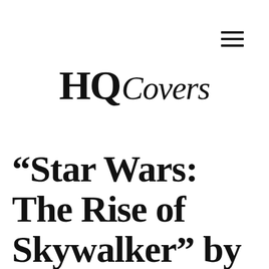[Figure (logo): HQCovers logo — 'HQ' in bold serif, 'Covers' in italic serif]
“Star Wars: The Rise of Skywalker” by John Williams